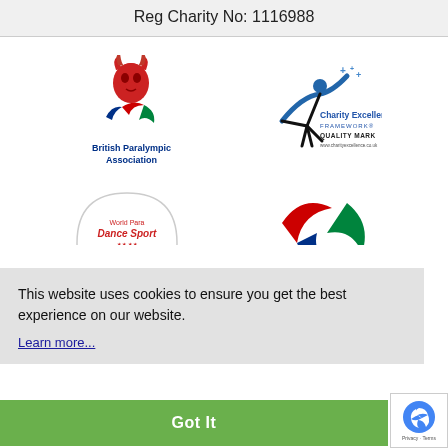Reg Charity No: 1116988
[Figure (logo): British Paralympic Association logo with lion head in red, Paralympic agitos symbol in blue/red/green, and text 'British Paralympic Association']
[Figure (logo): Charity Excellence Framework Quality Mark logo with stylized figure and star, text 'Charity Excellence FRAMEWORK QUALITY MARK www.charityexcellence.co.uk']
[Figure (logo): World Para Dance Sport logo (partially visible)]
[Figure (logo): Paralympic agitos logo in red, green, blue (partially visible)]
This website uses cookies to ensure you get the best experience on our website.
Learn more...
Got It